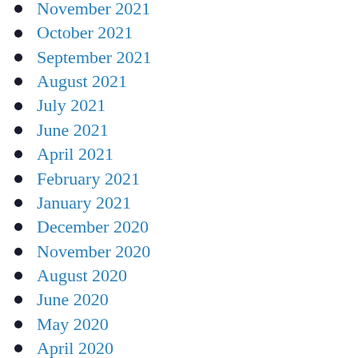November 2021
October 2021
September 2021
August 2021
July 2021
June 2021
April 2021
February 2021
January 2021
December 2020
November 2020
August 2020
June 2020
May 2020
April 2020
February 2020